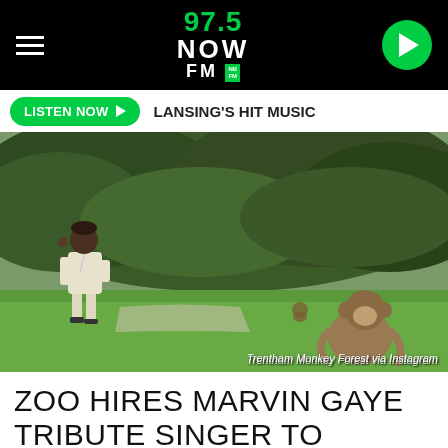97.5 NOW FM — LANSING'S HIT MUSIC
[Figure (photo): A man in a white suit standing outdoors on grass facing a monkey, with dense green bushes in the background. Photo credit: Trentham Monkey Forest via Instagram]
Trentham Monkey Forest via Instagram
ZOO HIRES MARVIN GAYE TRIBUTE SINGER TO ENTICE